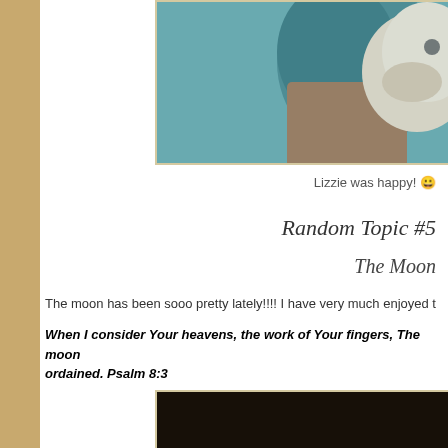[Figure (photo): Person in teal/turquoise shirt holding a white baby goat, outdoor setting with blue sky]
Lizzie was happy! 😀
Random Topic #5
The Moon
The moon has been sooo pretty lately!!!! I have very much enjoyed t
When I consider Your heavens, the work of Your fingers, The moon... ordained. Psalm 8:3
[Figure (photo): Dark/nighttime photo, partially visible at bottom of page]